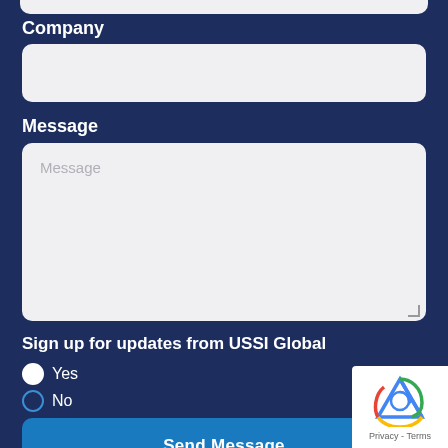Company
[Figure (screenshot): Company text input field (empty, light gray background, rounded corners)]
Message
[Figure (screenshot): Message textarea with placeholder text 'Message', light gray background, rounded corners with resize handle]
Sign up for updates from USSI Global
Yes (radio button, selected/filled)
No (radio button, unselected/empty)
Send Message
[Figure (logo): reCAPTCHA badge with robot icon and Privacy - Terms text]